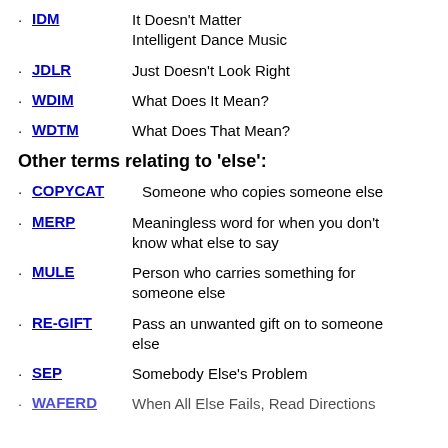IDM - It Doesn't Matter / Intelligent Dance Music
JDLR - Just Doesn't Look Right
WDIM - What Does It Mean?
WDTM - What Does That Mean?
Other terms relating to 'else':
COPYCAT - Someone who copies someone else
MERP - Meaningless word for when you don't know what else to say
MULE - Person who carries something for someone else
RE-GIFT - Pass an unwanted gift on to someone else
SEP - Somebody Else's Problem
WAFERD - When All Else Fails, Read Directions